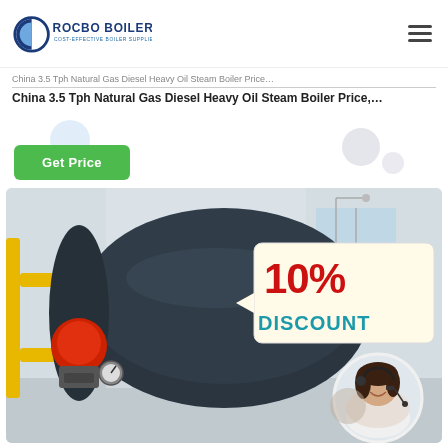ROCBO BOILER — COST-EFFECTIVE BOILER SUPPLIER
China 3.5 Tph Natural Gas Diesel Heavy Oil Steam Boiler Price…
China 3.5 Tph Natural Gas Diesel Heavy Oil Steam Boiler Price,…
Get Price
[Figure (photo): Industrial boiler — large dark cylindrical steam boiler with yellow gas pipes on the left and a red burner at front, inside a factory. A promotional overlay shows '10% DISCOUNT' in red bold text, and a circular photo of a smiling woman with a headset (customer service representative).]